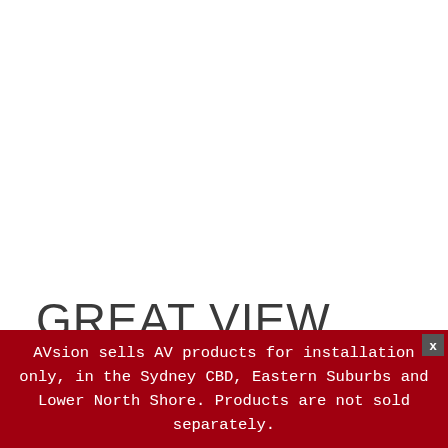GREAT VIEW FROM VIRTUALLY EVERY SEAT
AVsion sells AV products for installation only, in the Sydney CBD, Eastern Suburbs and Lower North Shore. Products are not sold separately.